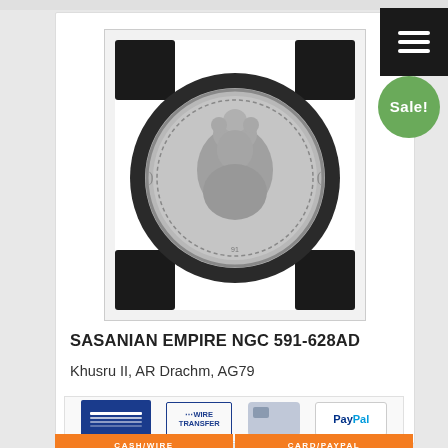[Figure (photo): Photograph of a Sasanian Empire silver coin (AR Drachm) showing the obverse with a royal portrait, encapsulated in an NGC coin holder with black corners on white background.]
SASANIAN EMPIRE NGC 591-628AD
Khusru II, AR Drachm, AG79
[Figure (other): Payment method icons: ACH/bank transfer logo, Wire Transfer logo, credit card icon, PayPal logo]
CASH/WIRE | CARD/PAYPAL